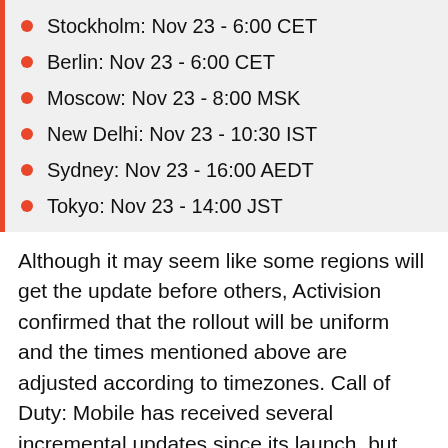Stockholm: Nov 23 - 6:00 CET
Berlin: Nov 23 - 6:00 CET
Moscow: Nov 23 - 8:00 MSK
New Delhi: Nov 23 - 10:30 IST
Sydney: Nov 23 - 16:00 AEDT
Tokyo: Nov 23 - 14:00 JST
Although it may seem like some regions will get the update before others, Activision confirmed that the rollout will be uniform and the times mentioned above are adjusted according to timezones. Call of Duty: Mobile has received several incremental updates since its launch, but they've mostly been minor changes.
RELATED STORY · Nathan Birch